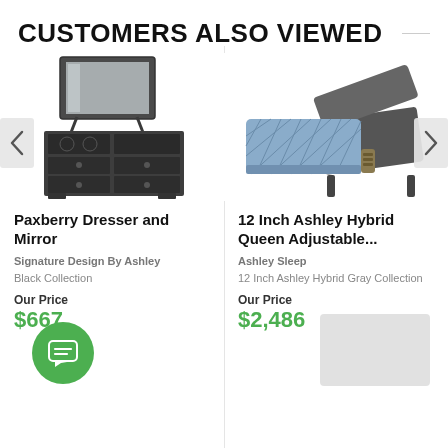CUSTOMERS ALSO VIEWED
[Figure (photo): Dark gray dresser with mirror - Paxberry Dresser and Mirror]
Paxberry Dresser and Mirror
Signature Design By Ashley
Black Collection
Our Price
$667
[Figure (photo): 12 Inch Ashley Hybrid mattress with adjustable base]
12 Inch Ashley Hybrid Queen Adjustable...
Ashley Sleep
12 Inch Ashley Hybrid Gray Collection
Our Price
$2,486